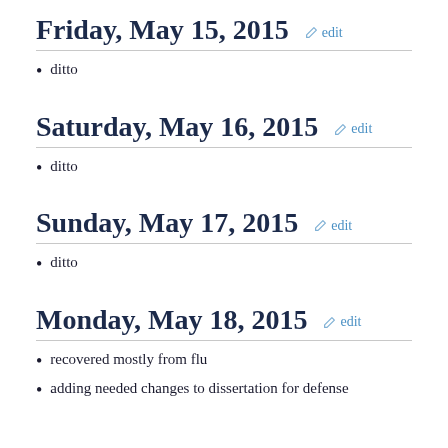Friday, May 15, 2015 edit
ditto
Saturday, May 16, 2015 edit
ditto
Sunday, May 17, 2015 edit
ditto
Monday, May 18, 2015 edit
recovered mostly from flu
adding needed changes to dissertation for defense